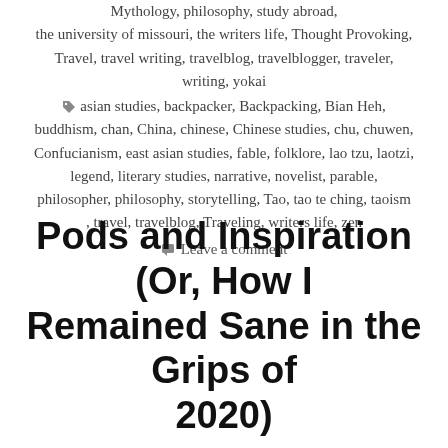Mythology, philosophy, study abroad, the university of missouri, the writers life, Thought Provoking, Travel, travel writing, travelblog, travelblogger, traveler, writing, yokai
asian studies, backpacker, Backpacking, Bian Heh, buddhism, chan, China, chinese, Chinese studies, chu, chuwen, Confucianism, east asian studies, fable, folklore, lao tzu, laotzi, legend, literary studies, narrative, novelist, parable, philosopher, philosophy, storytelling, Tao, tao te ching, taoism, travel, travelblog, Traveling, writers life, zen
Leave a comment
Pods and Inspiration (Or, How I Remained Sane in the Grips of 2020)